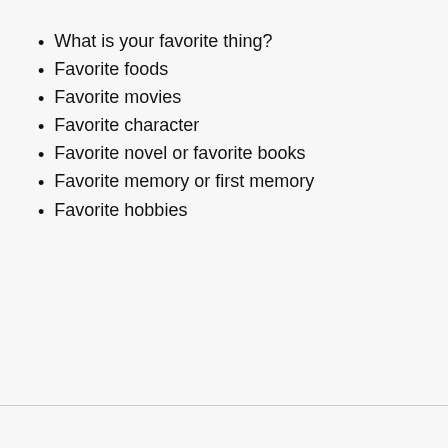What is your favorite thing?
Favorite foods
Favorite movies
Favorite character
Favorite novel or favorite books
Favorite memory or first memory
Favorite hobbies